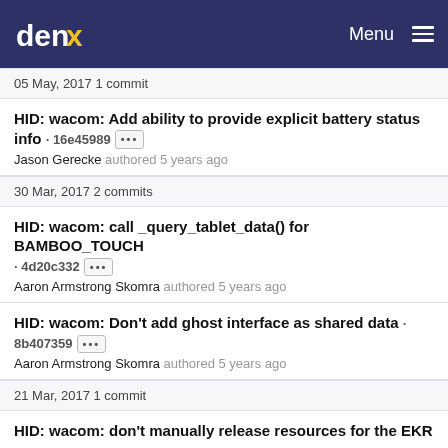denx Menu
05 May, 2017 1 commit
HID: wacom: Add ability to provide explicit battery status info · 16e45989 •••
Jason Gerecke authored 5 years ago
30 Mar, 2017 2 commits
HID: wacom: call _query_tablet_data() for BAMBOO_TOUCH · 4d20c332 •••
Aaron Armstrong Skomra authored 5 years ago
HID: wacom: Don't add ghost interface as shared data · 8b407359 •••
Aaron Armstrong Skomra authored 5 years ago
21 Mar, 2017 1 commit
HID: wacom: don't manually release resources for the EKR · b6b1f19b •••
Imprint & Privacy Policy